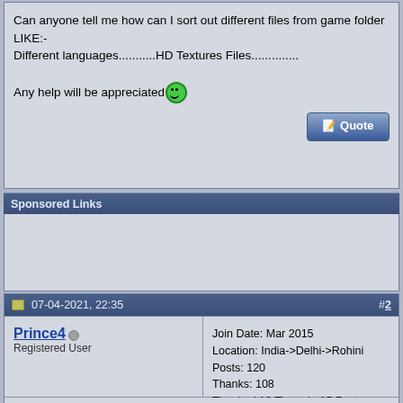Can anyone tell me how can I sort out different files from game folder LIKE:-
Different languages...........HD Textures Files..............

Any help will be appreciated 😄
Sponsored Links
07-04-2021, 22:35   #2
Prince4
Registered User
Join Date: Mar 2015
Location: India->Delhi->Rohini
Posts: 120
Thanks: 108
Thanked 19 Times in 15 Posts
That depends on the game, which directory structure or Filesystem it uses, most games nowadays have their data packed into singular files like Unreal Engine. So you're gonna have to figure that out by yourself. It's not difficult you can just guess by the file names.